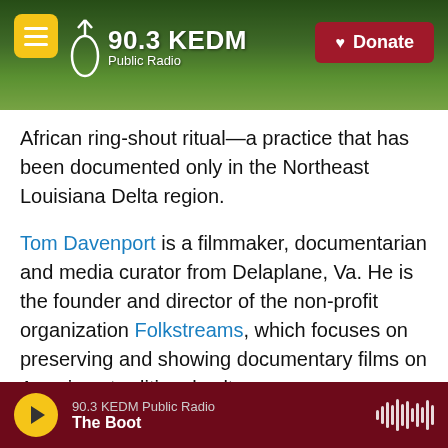90.3 KEDM Public Radio — Donate
African ring-shout ritual—a practice that has been documented only in the Northeast Louisiana Delta region.
Tom Davenport is a filmmaker, documentarian and media curator from Delaplane, Va. He is the founder and director of the non-profit organization Folkstreams, which focuses on preserving and showing documentary films on American traditional cultures.
The honor includes a $25,000 award per recipient. Due to the pandemic, no live ceremony will be held
90.3 KEDM Public Radio | The Boot